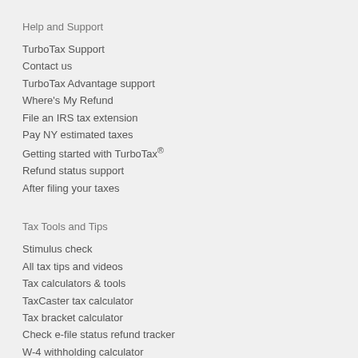Help and Support
TurboTax Support
Contact us
TurboTax Advantage support
Where's My Refund
File an IRS tax extension
Pay NY estimated taxes
Getting started with TurboTax®
Refund status support
After filing your taxes
Tax Tools and Tips
Stimulus check
All tax tips and videos
Tax calculators & tools
TaxCaster tax calculator
Tax bracket calculator
Check e-file status refund tracker
W-4 withholding calculator
ItsDeductible donation tracker